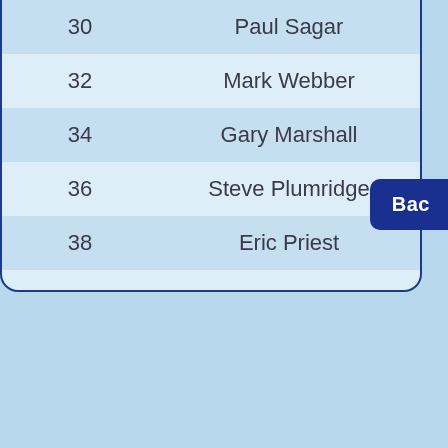| Page | Author |
| --- | --- |
| 30 | Paul Sagar |
| 32 | Mark Webber |
| 34 | Gary Marshall |
| 36 | Steve Plumridge |
| 38 | Eric Priest |